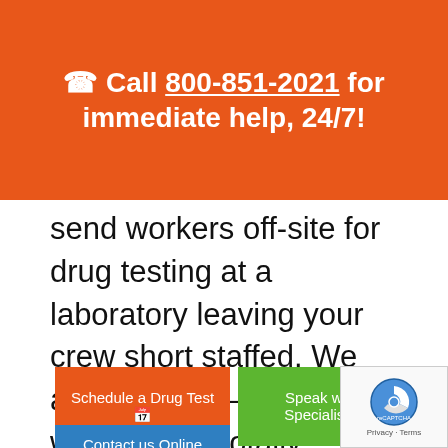📞 Call 800-851-2021 for immediate help, 24/7!
send workers off-site for drug testing at a laboratory leaving your crew short staffed. We arrive on-site—no matter where it is—totally prepared to professionally administer the test.
Schedule a Drug Test 📅
Speak with a Specialist 📞
Contact us Online
[Figure (logo): reCAPTCHA badge with logo and Privacy / Terms links]